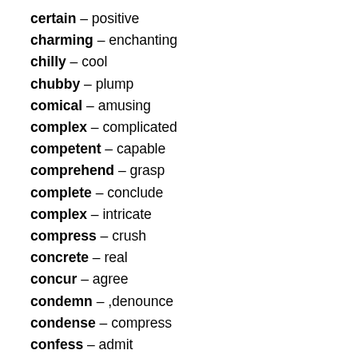certain – positive
charming – enchanting
chilly – cool
chubby – plump
comical – amusing
complex – complicated
competent – capable
comprehend – grasp
complete – conclude
complex – intricate
compress – crush
concrete – real
concur – agree
condemn – ,denounce
condense – compress
confess – admit
confine – contain